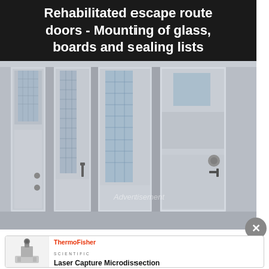Rehabilitated escape route doors - Mounting of glass, boards and sealing lists
[Figure (photo): Photograph of multiple rehabilitated escape route doors in gray/white tones, featuring glass panels with grid patterns, door handles, and sealing strips, shown side by side in an interior corridor setting. An 'Advertisement' watermark is visible in the lower portion.]
[Figure (logo): Thermo Fisher Scientific advertisement banner with a product image of a Laser Capture Microdissection instrument on the left, ThermoFisher Scientific logo in red and gray, and the text 'Laser Capture Microdissection' in bold.]